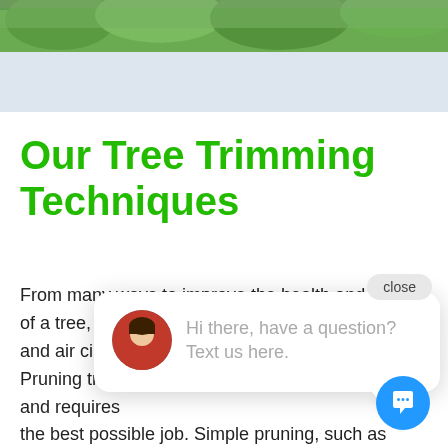[Figure (photo): Hero image showing trees/foliage at the top of the page]
Our Tree Trimming Techniques
From many ways to improve the health and shape of a tree, the crown is proven to provide light and air circulation. Pruning trees is both a science and an art and requires experience and training to perform the best possible job. Simple pruning, such as cutting lower limbs, can be performed by anybody, but only a certified arborist can do the job well. This is because pruning requires sufficient knowledge of
[Figure (screenshot): Chat popup widget with avatar and message 'Hi there, have a question? Text us here.' with a close button and blue chat icon button]